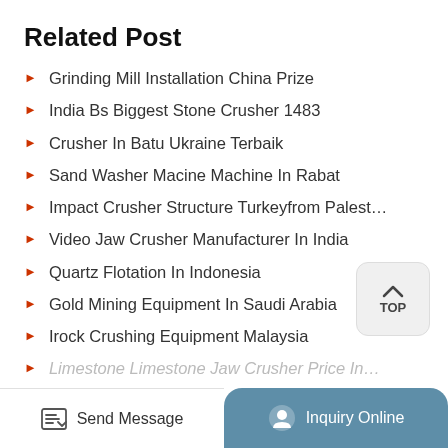Related Post
Grinding Mill Installation China Prize
India Bs Biggest Stone Crusher 1483
Crusher In Batu Ukraine Terbaik
Sand Washer Macine Machine In Rabat
Impact Crusher Structure Turkeyfrom Palest…
Video Jaw Crusher Manufacturer In India
Quartz Flotation In Indonesia
Gold Mining Equipment In Saudi Arabia
Irock Crushing Equipment Malaysia
Limestone Limestone Jaw Crusher Price In…
Send Message | Inquiry Online